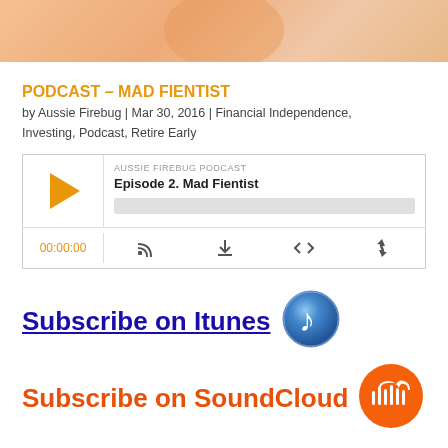[Figure (photo): Top portion showing a blurred or partially visible image with orange/peach tones, likely a person or graphic related to the podcast.]
PODCAST – MAD FIENTIST
by Aussie Firebug | Mar 30, 2016 | Financial Independence, Investing, Podcast, Retire Early
[Figure (screenshot): Aussie Firebug Podcast audio player widget showing Episode 2. Mad Fientist with play button, progress bar, time display 00:00:00, and control icons for RSS, download, embed, and share.]
Subscribe on Itunes
[Figure (logo): iTunes music note icon — blue/glossy circular icon with a white music note.]
Subscribe on SoundCloud
[Figure (logo): SoundCloud orange circular icon with white cloud/waveform logo.]